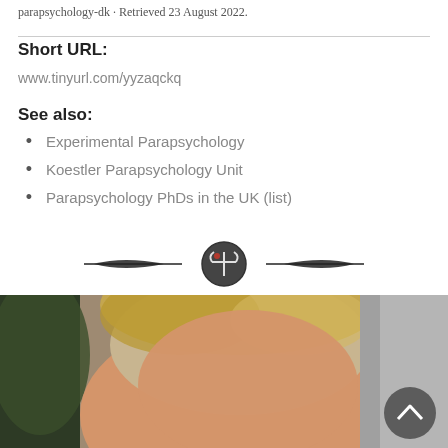parapsychology-dk · Retrieved 23 August 2022.
Short URL:
www.tinyurl.com/yyzaqckq
See also:
Experimental Parapsychology
Koestler Parapsychology Unit
Parapsychology PhDs in the UK (list)
[Figure (illustration): Decorative ornament divider with a psi symbol circle in the center and wing-like curved lines extending to each side]
[Figure (photo): Close-up photo of a person with blonde hair, partially cropped, with a dark circular scroll-to-top button overlay in the lower right]